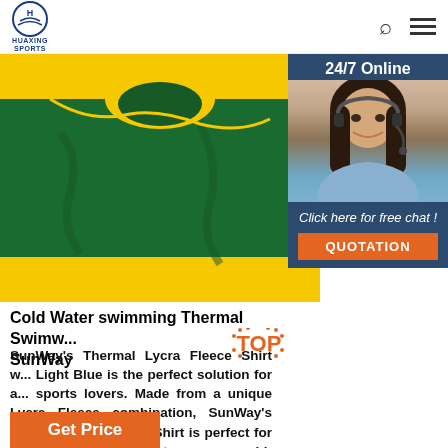HUAXING SPORTS
[Figure (photo): Close-up photo of green and yellow thermal swimwear fabric]
[Figure (photo): 24/7 Online customer service agent - woman with headset smiling]
24/7 Online
Click here for free chat !
QUOTATION
Cold Water swimming Thermal Swimw... SunWay
SunWay's Thermal Lycra Fleece Shirt w... Light Blue is the perfect solution for a... sports lovers. Made from a unique Lycra Fleece combination, SunWay's Thermal Lycra Fleece Shirt is perfect for swimming, water sports or any cold-weather recreational water activity. The thermal shirt's outer lining consists of the highest quality European-made Lycra, which is smooth ...
Get Price